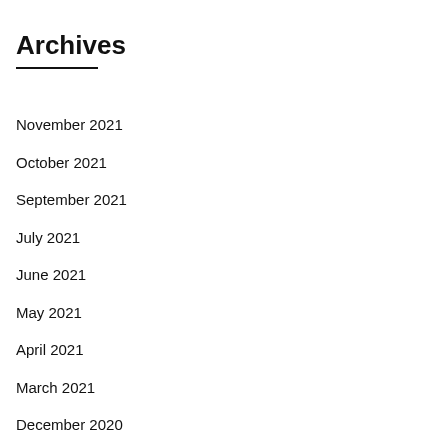Archives
November 2021
October 2021
September 2021
July 2021
June 2021
May 2021
April 2021
March 2021
December 2020
November 2020